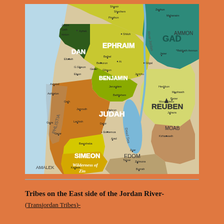[Figure (map): Map of the ancient Israelite tribal territories. Shows tribes of Dan, Ephraim, Benjamin, Judah, Simeon, Gad, Reuben on both sides of the Jordan River. Also shows neighboring regions: Ammon, Moab, Edom, Amalek, Phlistia. The Dead Sea, Wilderness of Zin, and River Jordan are labeled. Various cities are marked including Jerusalem, Bethlehem, Hebron, Jericho, Gilgal, Beersheba, Kadesh, and others.]
Tribes on the East side of the Jordan River-
(Transjordan Tribes)-